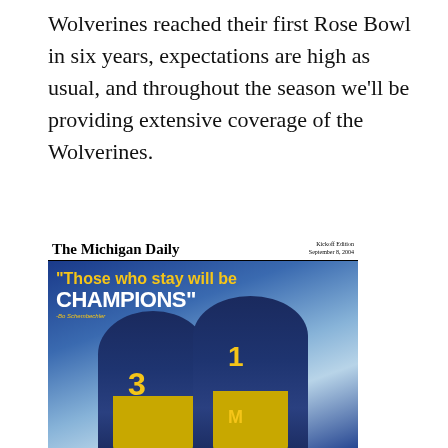Wolverines reached their first Rose Bowl in six years, expectations are high as usual, and throughout the season we'll be providing extensive coverage of the Wolverines.
[Figure (photo): The Michigan Daily newspaper front page with the headline 'Those who stay will be CHAMPIONS' featuring two University of Michigan football players in navy and yellow uniforms, numbers 3 and 1.]